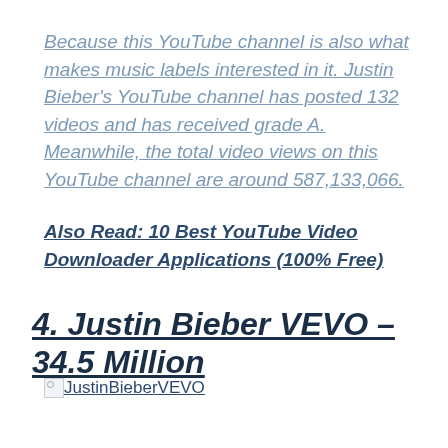Because this YouTube channel is also what makes music labels interested in it. Justin Bieber's YouTube channel has posted 132 videos and has received grade A. Meanwhile, the total video views on this YouTube channel are around 587,133,066.
Also Read: 10 Best YouTube Video Downloader Applications (100% Free)
4. Justin Bieber VEVO – 34.5 Million
[Figure (other): Broken image placeholder with link text 'JustinBieberVEVO']